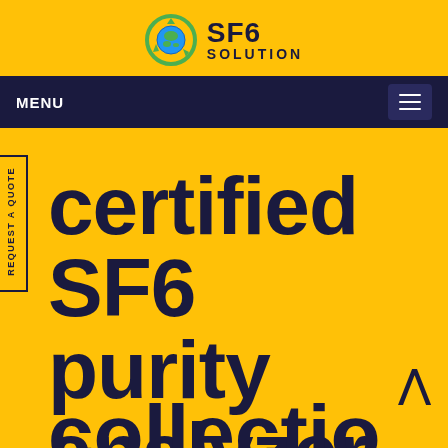[Figure (logo): SF6 Solution company logo with green recycling globe icon on yellow background]
MENU
REQUEST A QUOTE
certified SF6 purity analyzer collection